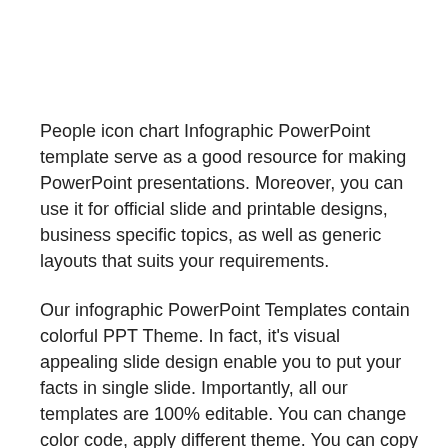People icon chart Infographic PowerPoint template serve as a good resource for making PowerPoint presentations. Moreover, you can use it for official slide and printable designs, business specific topics, as well as generic layouts that suits your requirements.
Our infographic PowerPoint Templates contain colorful PPT Theme. In fact, it's visual appealing slide design enable you to put your facts in single slide. Importantly, all our templates are 100% editable. You can change color code, apply different theme. You can copy the design and paste it in your PowerPoint Theme, it will automatically change its color to the destination theme. Basically, you can change PPT color theme of this template basis your presentation style. For more